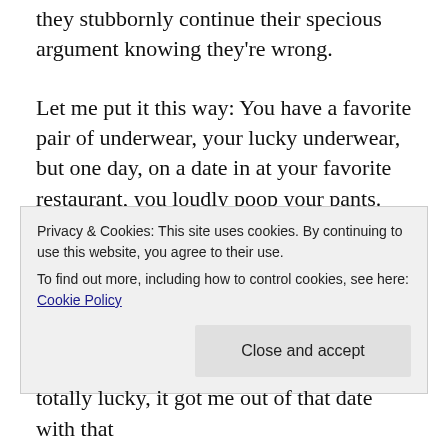they stubbornly continue their specious argument knowing they're wrong.
Let me put it this way: You have a favorite pair of underwear, your lucky underwear, but one day, on a date in at your favorite restaurant, you loudly poop your pants. You have to walk home, poop dripping down your leg, even homeless people screaming in terror (and this time not at the vampire zombie ghosts).
Do...
Privacy & Cookies: This site uses cookies. By continuing to use this website, you agree to their use.
To find out more, including how to control cookies, see here: Cookie Policy
Close and accept
totally lucky, it got me out of that date with that